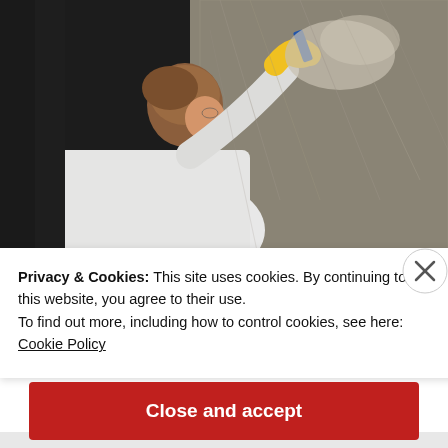[Figure (photo): A person wearing a white protective suit and yellow gloves applying or smoothing a textured material onto a dark wall using a tool, viewed from behind/side. The material being applied appears fibrous and light-colored (glass fiber or similar insulation material) against a dark background.]
Privacy & Cookies: This site uses cookies. By continuing to use this website, you agree to their use.
To find out more, including how to control cookies, see here:
Cookie Policy
Close and accept